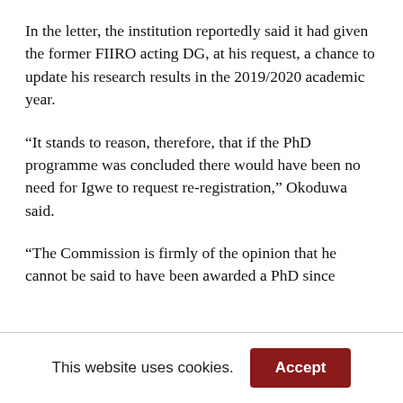In the letter, the institution reportedly said it had given the former FIIRO acting DG, at his request, a chance to update his research results in the 2019/2020 academic year.
“It stands to reason, therefore, that if the PhD programme was concluded there would have been no need for Igwe to request re-registration,” Okoduwa said.
“The Commission is firmly of the opinion that he cannot be said to have been awarded a PhD since
This website uses cookies.